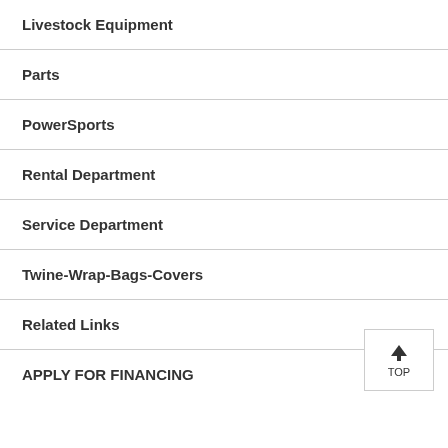Livestock Equipment
Parts
PowerSports
Rental Department
Service Department
Twine-Wrap-Bags-Covers
Related Links
APPLY FOR FINANCING